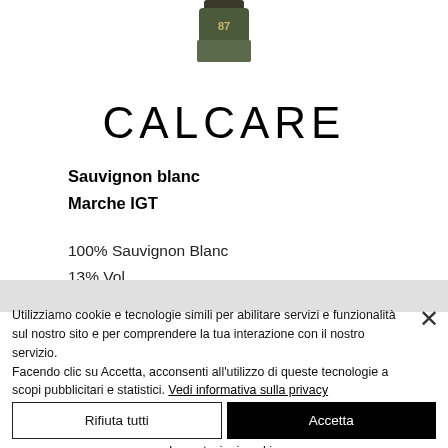[Figure (photo): Partial view of a wine bottle top with label, cropped at the top of the page]
CALCARE
Sauvignon blanc
Marche IGT
100% Sauvignon Blanc
13% Vol.
Utilizziamo cookie e tecnologie simili per abilitare servizi e funzionalità sul nostro sito e per comprendere la tua interazione con il nostro servizio.
Facendo clic su Accetta, acconsenti all'utilizzo di queste tecnologie a scopi pubblicitari e statistici. Vedi informativa sulla privacy
Rifiuta tutti
Accetta
Impostazioni cookie